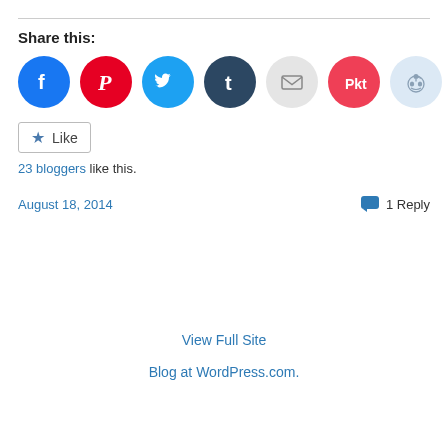Share this:
[Figure (infographic): Row of social share icon buttons: Facebook (blue circle), Pinterest (red circle), Twitter (cyan circle), Tumblr (dark navy circle), Email (light grey circle), Pocket (red circle), Reddit (light blue circle)]
[Figure (infographic): Like button widget with star icon and 'Like' text in a bordered box]
23 bloggers like this.
August 18, 2014
1 Reply
View Full Site
Blog at WordPress.com.